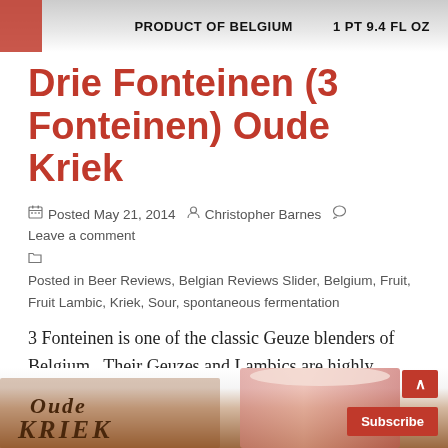[Figure (photo): Top of a beer bottle label showing 'PRODUCT OF BELGIUM' and '1 PT 9.4 FL OZ' with a red strip on the left side]
Drie Fonteinen (3 Fonteinen) Oude Kriek
Posted May 21, 2014  Christopher Barnes  Leave a comment
Posted in Beer Reviews, Belgian Reviews Slider, Belgium, Fruit, Fruit Lambic, Kriek, Sour, spontaneous fermentation
3 Fonteinen is one of the classic Geuze blenders of Belgium.  Their Geuzes and Lambics are highly sought after by sour beer fans the world over, [...]
[Figure (photo): Bottom portion of a beer bottle and glass with reddish beer, with a Subscribe button and scroll-to-top button visible]